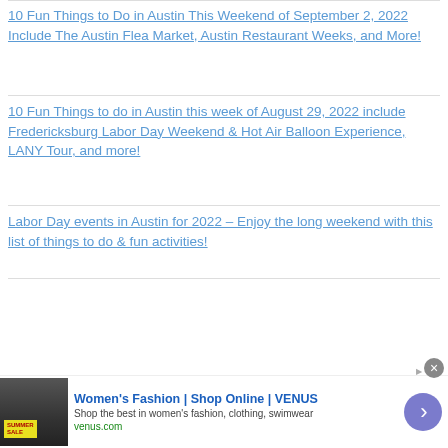10 Fun Things to Do in Austin This Weekend of September 2, 2022 Include The Austin Flea Market, Austin Restaurant Weeks, and More!
10 Fun Things to do in Austin this week of August 29, 2022 include Fredericksburg Labor Day Weekend & Hot Air Balloon Experience, LANY Tour, and more!
Labor Day events in Austin for 2022 – Enjoy the long weekend with this list of things to do & fun activities!
[Figure (screenshot): Video player overlay showing 'WELCOME TO THE AUSTINOT' title with 'No compatible source was found for this media.' message on dark background, with diagonal striped area on left and close button]
We are all about Austin: the vibe, the people and the
[Figure (screenshot): Advertisement banner for Women's Fashion | Shop Online | VENUS with summer sale image, blue title text, subtitle 'Shop the best in women's fashion, clothing, swimwear', venus.com URL, and purple arrow button]